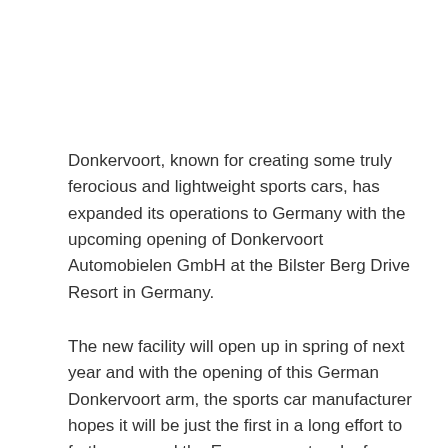Donkervoort, known for creating some truly ferocious and lightweight sports cars, has expanded its operations to Germany with the upcoming opening of Donkervoort Automobielen GmbH at the Bilster Berg Drive Resort in Germany.
The new facility will open up in spring of next year and with the opening of this German Donkervoort arm, the sports car manufacturer hopes it will be just the first in a long effort to further expand the European network of Donkervoort.